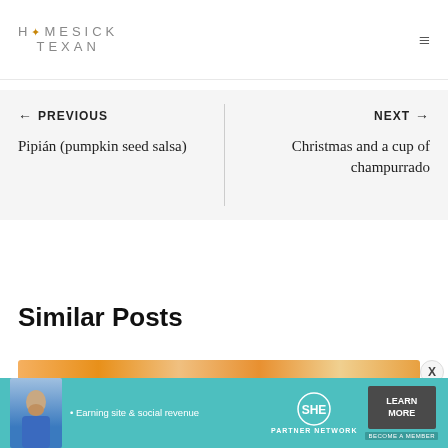HOMESICK TEXAN
← PREVIOUS
Pipián (pumpkin seed salsa)
NEXT →
Christmas and a cup of champurrado
Similar Posts
[Figure (photo): Orange/warm colored image strip at top of similar posts section]
[Figure (infographic): SHE Media partner network advertisement banner with woman photo, 'Earning site & social revenue', SHE logo, LEARN MORE button, BECOME A MEMBER badge]